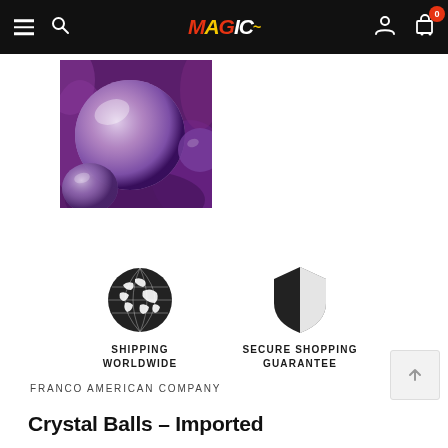Navigation bar with menu, search, MAGIC logo, account and cart icons (0 items)
[Figure (photo): Close-up photo of purple/violet crystal balls on purple silk fabric]
[Figure (illustration): Globe icon for Shipping Worldwide]
SHIPPING WORLDWIDE
[Figure (illustration): Shield icon for Secure Shopping Guarantee]
SECURE SHOPPING GUARANTEE
FRANCO AMERICAN COMPANY
Crystal Balls – Imported